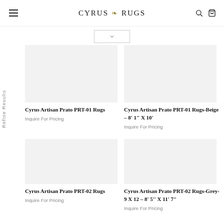CYRUS RUGS
Refine Results
Cyrus Artisan Prato PRT-01 Rugs
Inquire For Pricing
Cyrus Artisan Prato PRT-01 Rugs-Beige – 8' 1" X 10'
Inquire For Pricing
Cyrus Artisan Prato PRT-02 Rugs
Inquire For Pricing
Cyrus Artisan Prato PRT-02 Rugs-Grey-9 X 12 – 8' 5'' X 11' 7"
Inquire For Pricing